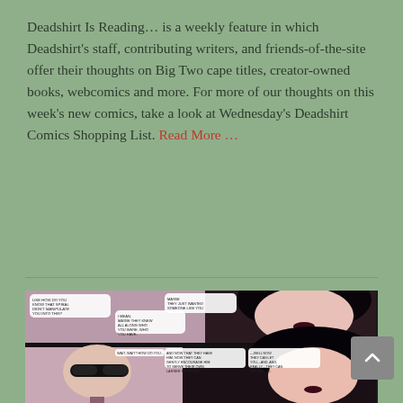Deadshirt Is Reading… is a weekly feature in which Deadshirt's staff, contributing writers, and friends-of-the-site offer their thoughts on Big Two cape titles, creator-owned books, webcomics and more. For more of our thoughts on this week's new comics, take a look at Wednesday's Deadshirt Comics Shopping List. Read More …
[Figure (illustration): Comic book panel showing two characters in conversation — a woman with dark hair and a man wearing sunglasses in a suit. Speech bubbles contain dialogue about manipulation, being a clichéd villain, and serving a larger purpose.]